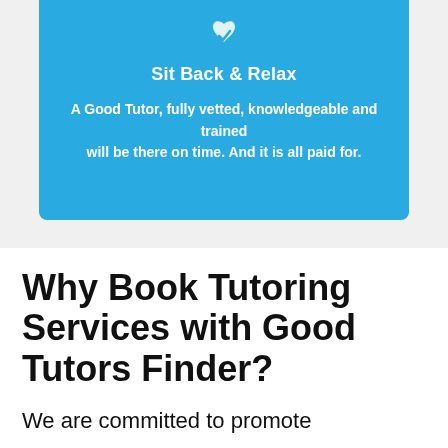[Figure (infographic): Blue card with a heart/checkmark icon at top, bold white title 'Sit Back & Relax', and descriptive white text below on a light grey background.]
Why Book Tutoring Services with Good Tutors Finder?
We are committed to promote